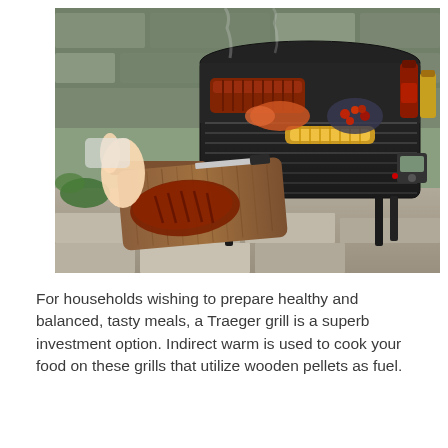[Figure (photo): A Traeger pellet grill outdoors on a stone patio with various foods cooking on the grill grates including ribs, corn, lobster tail, and vegetables. A person is placing meat onto a wooden cutting board in the foreground. Barbecue sauce bottles are visible on the side shelf.]
For households wishing to prepare healthy and balanced, tasty meals, a Traeger grill is a superb investment option. Indirect warm is used to cook your food on these grills that utilize wooden pellets as fuel.